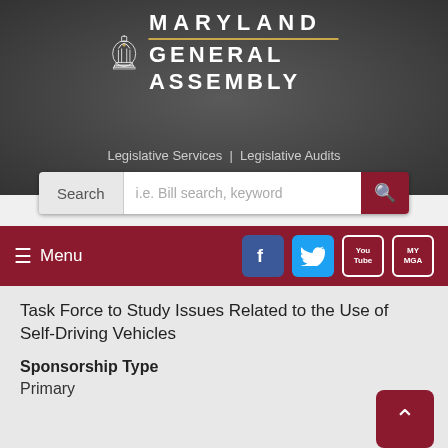[Figure (logo): Maryland General Assembly logo with state capitol dome icon]
Legislative Services | Legislative Audits
[Figure (screenshot): Search bar with label 'Search', placeholder 'i.e. Bill search, keyword', and dark red search button with magnifying glass icon]
≡ Menu
[Figure (other): Social media icons: Facebook, Twitter, YouTube, MyMGA]
Task Force to Study Issues Related to the Use of Self-Driving Vehicles
Sponsorship Type
Primary
Bill/Chapter (Cross/Chapter)
HB0473 (SB1160)
Title
Creation of a State Debt - Anne Arundel County -